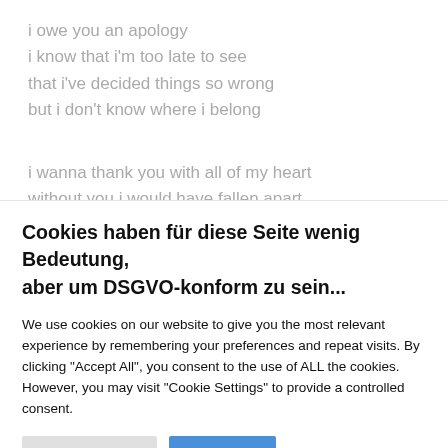i owe you an apology
i know that i'm too late to see
that i've decided things so wrong
but i don't know where i belong

i wanna thank you with all of my heart
without you i would have fallen apart
without you i would have lost that life i've come to fight...
Cookies haben für diese Seite wenig Bedeutung, aber um DSGVO-konform zu sein...
We use cookies on our website to give you the most relevant experience by remembering your preferences and repeat visits. By clicking "Accept All", you consent to the use of ALL the cookies. However, you may visit "Cookie Settings" to provide a controlled consent.